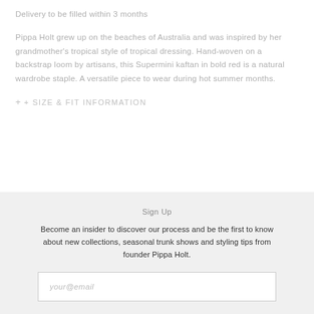Delivery to be filled within 3 months
Pippa Holt grew up on the beaches of Australia and was inspired by her grandmother's tropical style of tropical dressing. Hand-woven on a backstrap loom by artisans, this Supermini kaftan in bold red is a natural wardrobe staple. A versatile piece to wear during hot summer months.
+
+ SIZE & FIT INFORMATION
Sign Up
Become an insider to discover our process and be the first to know about new collections, seasonal trunk shows and styling tips from founder Pippa Holt.